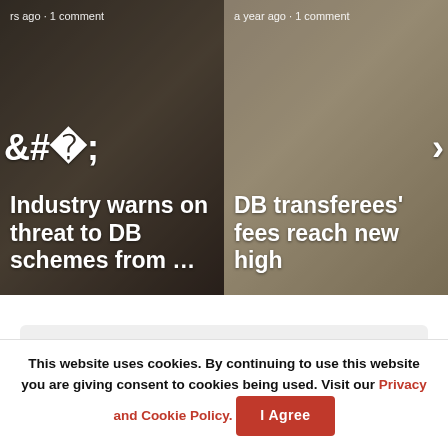[Figure (screenshot): Carousel of two article cards. Left card shows: 'rs ago · 1 comment' meta, 'Industry warns on threat to DB schemes from …' headline over dark wood/tax background. Right card shows: 'a year ago · 1 comment' meta, 'DB transferees' fees reach new high' headline over coin jar background. Navigation arrows on left and right.]
Corporate Adviser Comment Policy
We welcome relevant comments. Off-topic posts may be removed.
Comments   Community   🔒 Privacy Policy
This website uses cookies. By continuing to use this website you are giving consent to cookies being used. Visit our Privacy and Cookie Policy.  I Agree